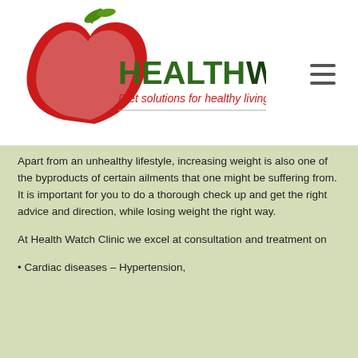[Figure (logo): HealthWatch logo with red apple shape and green leaves, text HEALTHWATCH in dark green and red, tagline Diet solutions for healthy living in red]
Apart from an unhealthy lifestyle, increasing weight is also one of the byproducts of certain ailments that one might be suffering from. It is important for you to do a thorough check up and get the right advice and direction, while losing weight the right way.
At Health Watch Clinic we excel at consultation and treatment on
• Cardiac diseases – Hypertension,